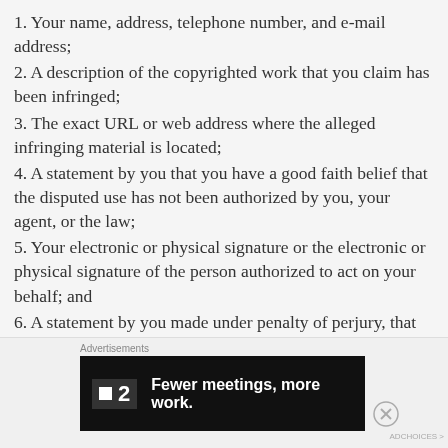1. Your name, address, telephone number, and e-mail address;
2. A description of the copyrighted work that you claim has been infringed;
3. The exact URL or web address where the alleged infringing material is located;
4. A statement by you that you have a good faith belief that the disputed use has not been authorized by you, your agent, or the law;
5. Your electronic or physical signature or the electronic or physical signature of the person authorized to act on your behalf; and
6. A statement by you made under penalty of perjury, that the information in your notice is accurate, that you are the copyright owner or authorized to act on the
[Figure (infographic): Advertisement banner: dark background with logo showing a small square icon followed by '2' and text 'Fewer meetings, more work.' Labeled 'Advertisements' above.]